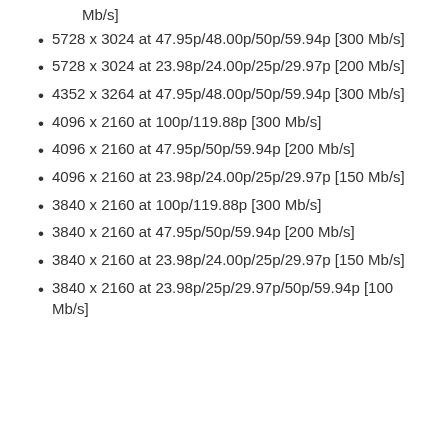Mb/s]
5728 x 3024 at 47.95p/48.00p/50p/59.94p [300 Mb/s]
5728 x 3024 at 23.98p/24.00p/25p/29.97p [200 Mb/s]
4352 x 3264 at 47.95p/48.00p/50p/59.94p [300 Mb/s]
4096 x 2160 at 100p/119.88p [300 Mb/s]
4096 x 2160 at 47.95p/50p/59.94p [200 Mb/s]
4096 x 2160 at 23.98p/24.00p/25p/29.97p [150 Mb/s]
3840 x 2160 at 100p/119.88p [300 Mb/s]
3840 x 2160 at 47.95p/50p/59.94p [200 Mb/s]
3840 x 2160 at 23.98p/24.00p/25p/29.97p [150 Mb/s]
3840 x 2160 at 23.98p/25p/29.97p/50p/59.94p [100 Mb/s]